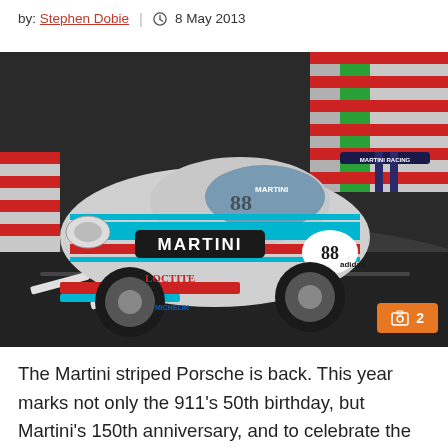by: Stephen Dobie | 8 May 2013
[Figure (photo): A Martini-liveried Porsche 991 GT3 cup car (number 88) on track, featuring the classic Martini racing stripes in blue, red and cyan on a silver base, with Loctite and Michelin sponsorship, large rear wing marked Martini Racing, Adidas logo on door. Badge overlay showing '2 images'.]
The Martini striped Porsche is back. This year marks not only the 911's 50th birthday, but Martini's 150th anniversary, and to celebrate the new 991 GT3 cup